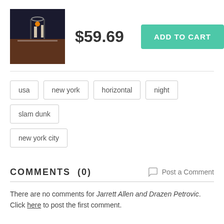[Figure (photo): Thumbnail of a basketball game photo showing players, likely Jarrett Allen and Drazen Petrovic at night]
$59.69
ADD TO CART
usa
new york
horizontal
night
slam dunk
new york city
COMMENTS  (0)
Post a Comment
There are no comments for Jarrett Allen and Drazen Petrovic.   Click here to post the first comment.
ARTIST'S  DESCRIPTION